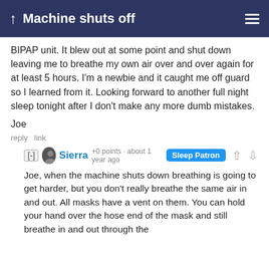Machine shuts off
BIPAP unit. It blew out at some point and shut down leaving me to breathe my own air over and over again for at least 5 hours. I'm a newbie and it caught me off guard so I learned from it. Looking forward to another full night sleep tonight after I don't make any more dumb mistakes.
Joe
reply link
[-] Sierra +0 points · about 1 year ago Sleep Patron
Joe, when the machine shuts down breathing is going to get harder, but you don't really breathe the same air in and out. All masks have a vent on them. You can hold your hand over the hose end of the mask and still breathe in and out through the